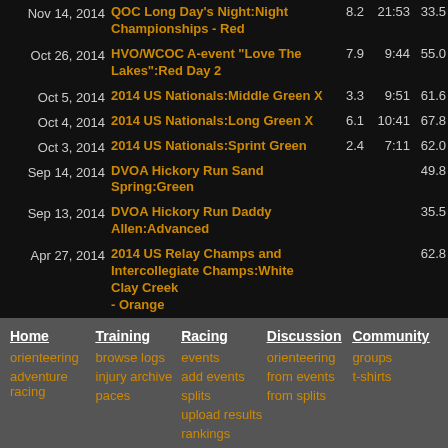| Date | Event |  |  |  |
| --- | --- | --- | --- | --- |
| Nov 14, 2014 | QOC Long Day's Night:Night Championships - Red | 8.2 | 21:53 | 33.5 |
| Oct 26, 2014 | HVO/WCOC A-event "Love The Lakes":Red Day 2 | 7.9 | 9:44 | 55.0 |
| Oct 5, 2014 | 2014 US Nationals:Middle Green X | 3.3 | 9:51 | 61.6 |
| Oct 4, 2014 | 2014 US Nationals:Long Green X | 6.1 | 10:41 | 67.8 |
| Oct 3, 2014 | 2014 US Nationals:Sprint Green | 2.4 | 7:11 | 62.0 |
| Sep 14, 2014 | DVOA Hickory Run Sand Spring:Green |  |  | 49.8 |
| Sep 13, 2014 | DVOA Hickory Run Daddy Allen:Advanced |  |  | 35.5 |
| Apr 27, 2014 | 2014 US Relay Champs and Intercollegiate Champs:White Clay Creek - Orange |  |  | 62.8 |
Home
Training
Racing
Discussion
Community
orienteering
browse logs
events
orienteering
groups
adventure racing
injury archive
add events
from events
t-shirts
paces
splits
from splits
upload results
rankings
running